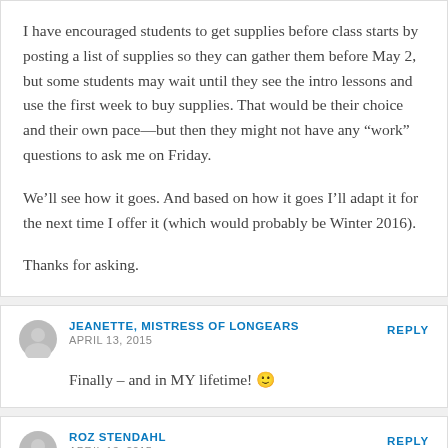I have encouraged students to get supplies before class starts by posting a list of supplies so they can gather them before May 2, but some students may wait until they see the intro lessons and use the first week to buy supplies. That would be their choice and their own pace—but then they might not have any “work” questions to ask me on Friday.
We’ll see how it goes. And based on how it goes I’ll adapt it for the next time I offer it (which would probably be Winter 2016).
Thanks for asking.
JEANETTE, MISTRESS OF LONGEARS — APRIL 13, 2015 — REPLY
Finally – and in MY lifetime! 🙂
ROZ STENDAHL — APRIL 13, 2015 — REPLY